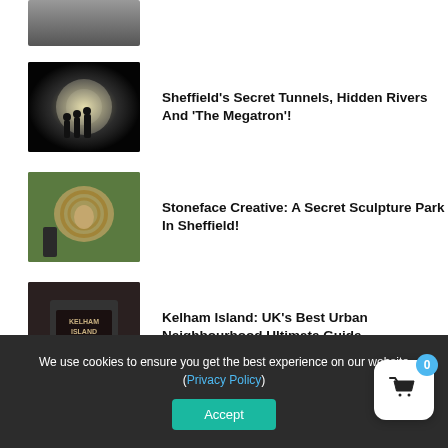[Figure (photo): Partial view of people standing, cropped at top of page]
[Figure (photo): Black and white photo of people walking through a dark tunnel toward light]
Sheffield's Secret Tunnels, Hidden Rivers And 'The Megatron'!
[Figure (photo): Stone sculpture face with circular ring decorations in green garden setting, man standing nearby]
Stoneface Creative: A Secret Sculpture Park In Sheffield!
[Figure (photo): Kelham Island Museum sign on dark stone building exterior]
Kelham Island: UK's Best Urban Neighbourhood Ultimate Guide
We use cookies to ensure you get the best experience on our website (Privacy Policy)
Accept